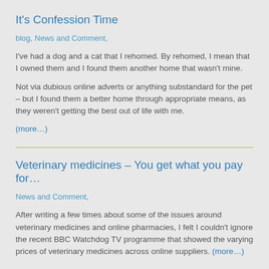It's Confession Time
blog, News and Comment,
I've had a dog and a cat that I rehomed. By rehomed, I mean that I owned them and I found them another home that wasn't mine.
Not via dubious online adverts or anything substandard for the pet – but I found them a better home through appropriate means, as they weren't getting the best out of life with me.
(more…)
Veterinary medicines – You get what you pay for…
News and Comment,
After writing a few times about some of the issues around veterinary medicines and online pharmacies, I felt I couldn't ignore the recent BBC Watchdog TV programme that showed the varying prices of veterinary medicines across online suppliers. (more…)